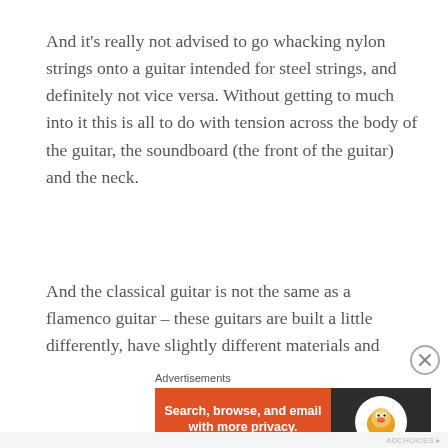And it’s really not advised to go whacking nylon strings onto a guitar intended for steel strings, and definitely not vice versa. Without getting to much into it this is all to do with tension across the body of the guitar, the soundboard (the front of the guitar) and the neck.
And the classical guitar is not the same as a flamenco guitar – these guitars are built a little differently, have slightly different materials and generally produce a different kind of sound. They’re really geared to the playing of flamenco style music. So if you’re interested in playing flamenco or even other folk / world music types you may want to do a...
Advertisements
[Figure (other): DuckDuckGo advertisement banner: orange left panel with text 'Search, browse, and email with more privacy. All in One Free App' and dark right panel with DuckDuckGo duck logo and brand name.]